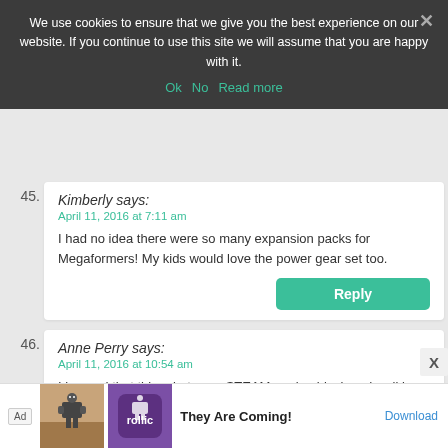We use cookies to ensure that we give you the best experience on our website. If you continue to use this site we will assume that you are happy with it.
Ok   No   Read more
45. Kimberly says: April 11, 2016 at 7:11 am
I had no idea there were so many expansion packs for Megaformers! My kids would love the power gear set too.
Reply
46. Anne Perry says: April 11, 2016 at 10:54 am
I learned that this robot uses STEAM engine block and walking accessories.
Reply
Ad  They Are Coming!  Download